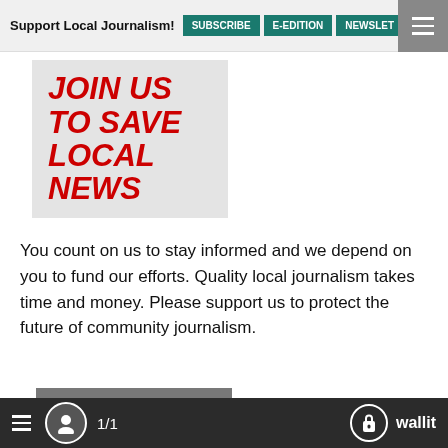Support Local Journalism! | SUBSCRIBE | E-EDITION | NEWSLETTER
[Figure (other): Red bold italic text on light gray background reading JOIN US TO SAVE LOCAL NEWS]
You count on us to stay informed and we depend on you to fund our efforts. Quality local journalism takes time and money. Please support us to protect the future of community journalism.
[Figure (other): White bold italic text on gray background reading SHARE YOUR THOUGHTS]
Have a thought or opinion on the news of the day? Get on your soapbox and share your opinions with the world. Send us a Letter
≡  👤  1/1  🔒 wallit